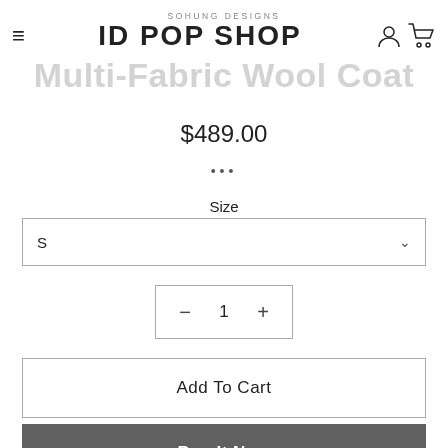SOHUNG DESIGNS
ID POP SHOP
Multi-Fabric Wool Coat
$489.00
•••
Size
S
1
Add To Cart
Buy It Now